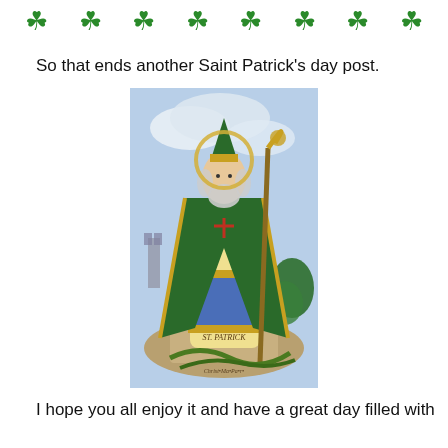[Figure (illustration): A row of green shamrock/clover emojis decorating the top of the page]
So that ends another Saint Patrick's day post.
[Figure (illustration): A religious illustration of Saint Patrick wearing green and gold bishop robes, holding a golden crozier staff, with a halo, standing on rocks with snakes at his feet, a castle in the background. Text at bottom reads 'St. Patrick' and artist signature.]
I hope you all enjoy it and have a great day filled with